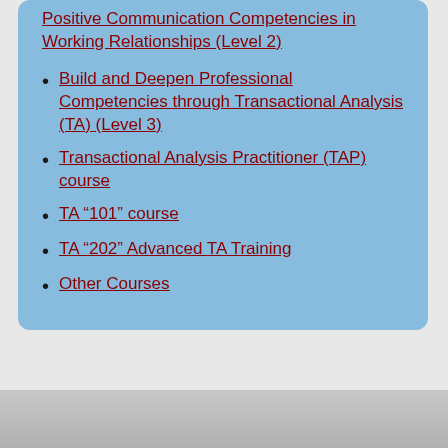Positive Communication Competencies in Working Relationships (Level 2)
Build and Deepen Professional Competencies through Transactional Analysis (TA) (Level 3)
Transactional Analysis Practitioner (TAP) course
TA “101” course
TA “202” Advanced TA Training
Other Courses